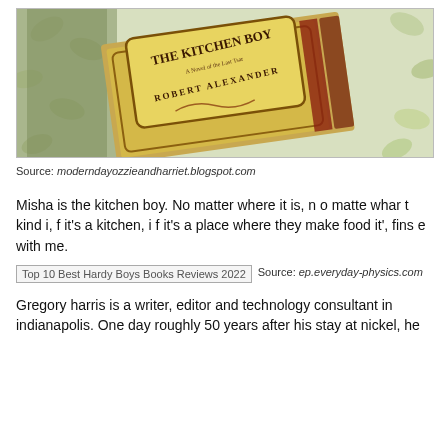[Figure (photo): Photo of a book titled 'The Kitchen Boy: A Novel of the Last Tsar' by Robert Alexander, placed on a leafy patterned surface]
Source: moderndayozzieandharriet.blogspot.com
Misha is the kitchen boy. No matter where it is, n o matte whar t kind i, f it's a kitchen, i f it's a place where they make food it', fins e with me.
[Figure (photo): Broken image placeholder: Top 10 Best Hardy Boys Books Reviews 2022]
Source: ep.everyday-physics.com
Gregory harris is a writer, editor and technology consultant in indianapolis. One day roughly 50 years after his stay at nickel, he